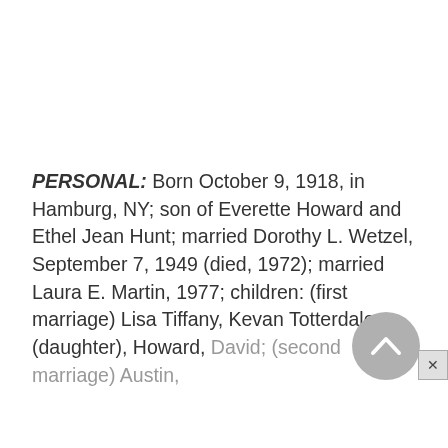PERSONAL: Born October 9, 1918, in Hamburg, NY; son of Everette Howard and Ethel Jean Hunt; married Dorothy L. Wetzel, September 7, 1949 (died, 1972); married Laura E. Martin, 1977; children: (first marriage) Lisa Tiffany, Kevan Totterdale (daughter), Howard, David; (second marriage) Austin,